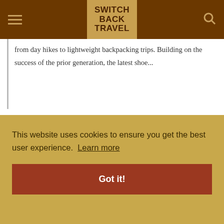SWITCH BACK TRAVEL
from day hikes to lightweight backpacking trips. Building on the success of the prior generation, the latest shoe...
[Figure (photo): Close-up photo of hiking boots/shoes on rocky terrain with blurred landscape background]
This website uses cookies to ensure you get the best user experience. Learn more
Got it!